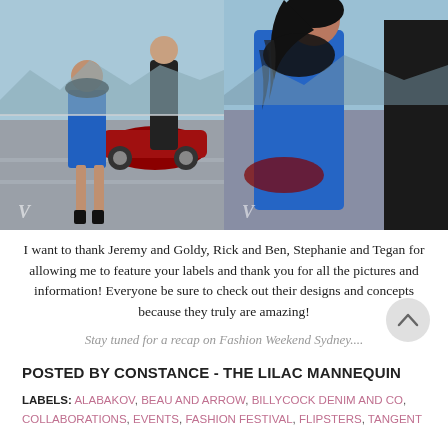[Figure (photo): Two fashion editorial photos side by side. Left: woman in blue mini dress with black feather accessories and man in black suit, with a red sports car on a tarmac. Right: close-up of woman in blue dress with black feather wrap embracing a man in black suit.]
I want to thank Jeremy and Goldy, Rick and Ben, Stephanie and Tegan for allowing me to feature your labels and thank you for all the pictures and information!  Everyone be sure to check out their designs and concepts because they truly are amazing!
Stay tuned for a recap on Fashion Weekend Sydney....
POSTED BY CONSTANCE - THE LILAC MANNEQUIN
LABELS: ALABAKOV, BEAU AND ARROW, BILLYCOCK DENIM AND CO, COLLABORATIONS, EVENTS, FASHION FESTIVAL, FLIPSTERS, TANGENT